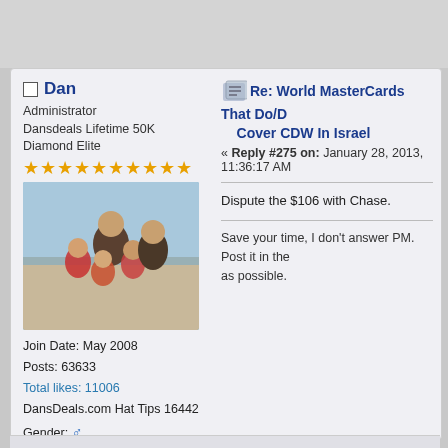Dan
Administrator
Dansdeals Lifetime 50K Diamond Elite
Join Date: May 2008
Posts: 63633
Total likes: 11006
DansDeals.com Hat Tips 16442
Gender: ♂
Location: CLE
Programs: UA Global Services, AA Lifetime Plat, DL Dirt, SPG Plat, Hyatt Diamond, Fairmont Lifetime Plat, Hilton Diamond, Priority Club Plat, Avis Chairman, National EE, Hertz PC
Re: World MasterCards That Do/D Cover CDW In Israel
« Reply #275 on: January 28, 2013, 11:36:17 AM
Dispute the $106 with Chase.
Save your time, I don't answer PM. Post it in the as possible.